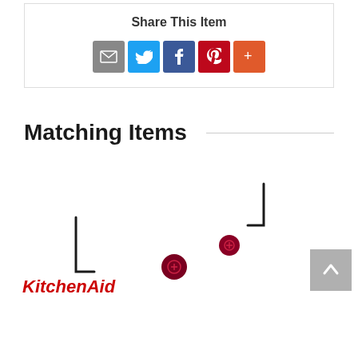Share This Item
[Figure (infographic): Social sharing icons: email (grey), Twitter (blue), Facebook (blue), Pinterest (red), More (orange-red)]
Matching Items
[Figure (photo): KitchenAid product image showing small screws or attachment parts on white background, with KitchenAid logo text in red italic at bottom]